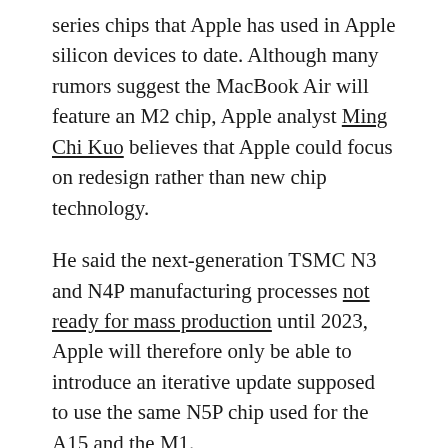series chips that Apple has used in Apple silicon devices to date. Although many rumors suggest the MacBook Air will feature an M2 chip, Apple analyst Ming Chi Kuo believes that Apple could focus on redesign rather than new chip technology.
He said the next-generation TSMC N3 and N4P manufacturing processes not ready for mass production until 2023, Apple will therefore only be able to introduce an iterative update supposed to use the same N5P chip used for the A15 and the M1.
More information about the next-generation MacBook Air can be found in our 2022 MacBook Air guide.
Mac Pro